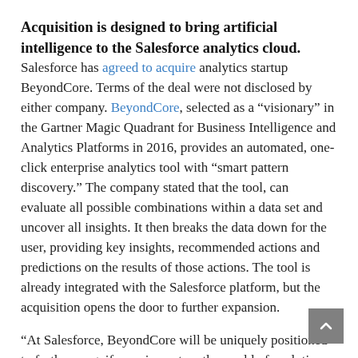Acquisition is designed to bring artificial intelligence to the Salesforce analytics cloud.
Salesforce has agreed to acquire analytics startup BeyondCore. Terms of the deal were not disclosed by either company. BeyondCore, selected as a “visionary” in the Gartner Magic Quadrant for Business Intelligence and Analytics Platforms in 2016, provides an automated, one-click enterprise analytics tool with “smart pattern discovery.” The company stated that the tool, can evaluate all possible combinations within a data set and uncover all insights. It then breaks the data down for the user, providing key insights, recommended actions and predictions on the results of those actions. The tool is already integrated with the Salesforce platform, but the acquisition opens the door to further expansion.
“At Salesforce, BeyondCore will be uniquely positioned to further magnify our impact on the world of analytics as part of the Analytics Cloud, extending smart data discovery and advanced analytics capabilities across the entire Salesforce Customer Success Platform,” said BeyondCore CEO Arijit